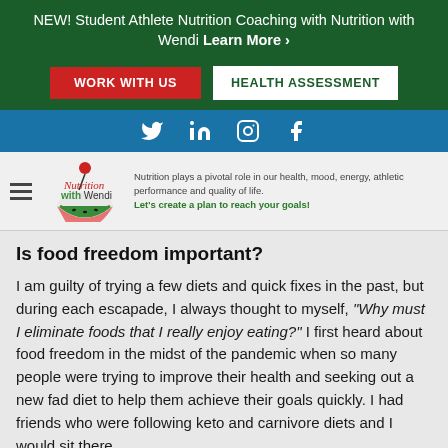NEW! Student Athlete Nutrition Coaching with Nutrition with Wendi Learn More ›
[Figure (screenshot): Two buttons: 'WORK WITH US' (red) and 'HEALTH ASSESSMENT' (white/green outline) on dark green background]
[Figure (screenshot): Social media icons: Twitter, LinkedIn, Instagram, Facebook on blue bar]
[Figure (logo): Nutrition with Wendi logo with watermelon slice illustration, hamburger menu, and tagline text]
Is food freedom important?
I am guilty of trying a few diets and quick fixes in the past, but during each escapade, I always thought to myself, "Why must I eliminate foods that I really enjoy eating?" I first heard about food freedom in the midst of the pandemic when so many people were trying to improve their health and seeking out a new fad diet to help them achieve their goals quickly. I had friends who were following keto and carnivore diets and I would sit there